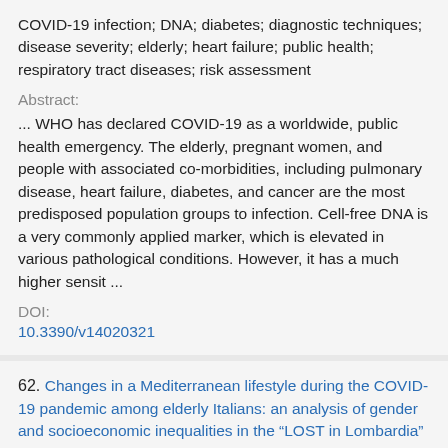COVID-19 infection; DNA; diabetes; diagnostic techniques; disease severity; elderly; heart failure; public health; respiratory tract diseases; risk assessment
Abstract:
... WHO has declared COVID-19 as a worldwide, public health emergency. The elderly, pregnant women, and people with associated co-morbidities, including pulmonary disease, heart failure, diabetes, and cancer are the most predisposed population groups to infection. Cell-free DNA is a very commonly applied marker, which is elevated in various pathological conditions. However, it has a much higher sensit ...
DOI:
10.3390/v14020321
62. Changes in a Mediterranean lifestyle during the COVID-19 pandemic among elderly Italians: an analysis of gender and socioeconomic inequalities in the “LOST in Lombardia” study